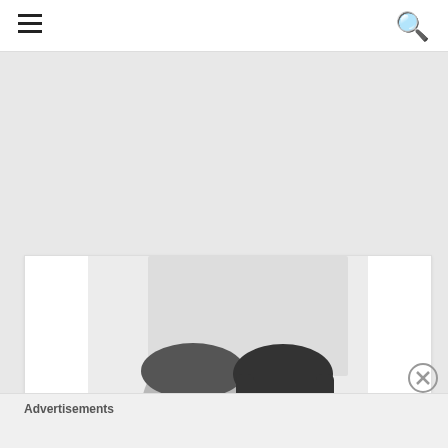[Figure (photo): Black and white photo of a smiling couple (Josh Benner and wife), both wearing glasses, close-up portrait]
the Josh Benner Blog  ALL POSTS
Josh is the pastor of Christian Bible Church in Cissna Park, Illinois. He has a Master of Divinity from Trinity Evangelical Divinity School. He lives with his wife Kari,
Advertisements